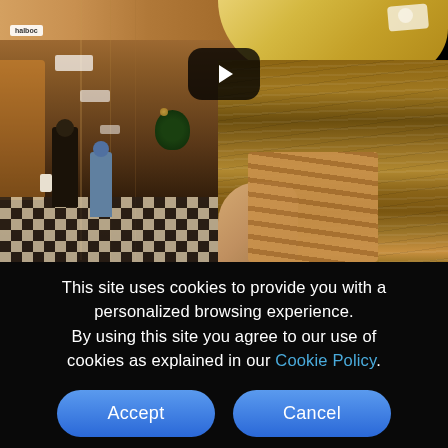[Figure (photo): A video thumbnail showing a split scene: on the left, a shopping arcade with people walking away from camera on a black-and-white checkered floor with store signs visible; on the right, close-up of a woman with long straight brown hair wearing a straw hat with a white bow, holding a striped shopping bag. A YouTube-style play button overlay is visible in the upper center.]
This site uses cookies to provide you with a personalized browsing experience. By using this site you agree to our use of cookies as explained in our Cookie Policy.